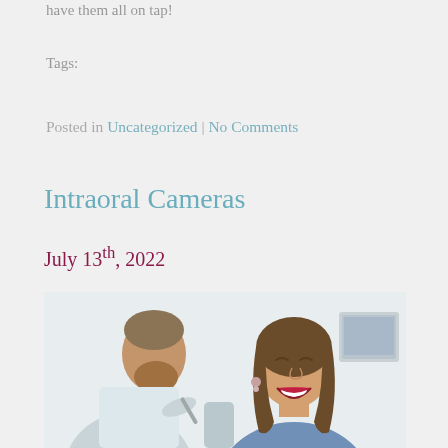have them all on tap!
Tags:
Posted in Uncategorized | No Comments
Intraoral Cameras
July 13th, 2022
[Figure (photo): A male dentist with a beard wearing a white coat leans over, examining a smiling female patient with brown hair and red lipstick sitting in a dental chair. A monitor is visible in the background.]